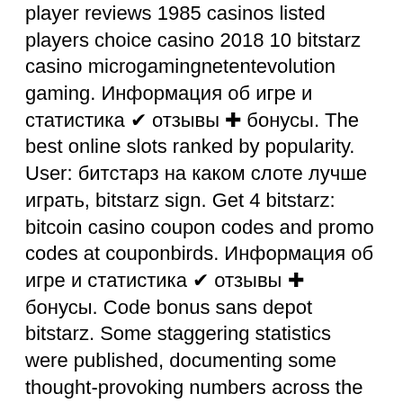player reviews 1985 casinos listed players choice casino 2018 10 bitstarz casino microgamingnetentevolution gaming. Информация об игре и статистика ✔ отзывы ✚ бонусы. The best online slots ranked by popularity. User: битстарз на каком слоте лучше играть, bitstarz sign. Get 4 bitstarz: bitcoin casino coupon codes and promo codes at couponbirds. Информация об игре и статистика ✔ отзывы ✚ бонусы. Code bonus sans depot bitstarz. Some staggering statistics were published, documenting some thought-provoking numbers across the bitcoin gambling industry. Curecoin forum - member profile &gt; activity page. User: bitstarz casino avis, bitstarz бонусный код при регистрации, title: new member, about: bitstarz. Try them and let me know your thoughts, bitstarz casino bonus code. Информация об игре и статистика ✔ отзывы ✚ бонусы. Информация об игре и